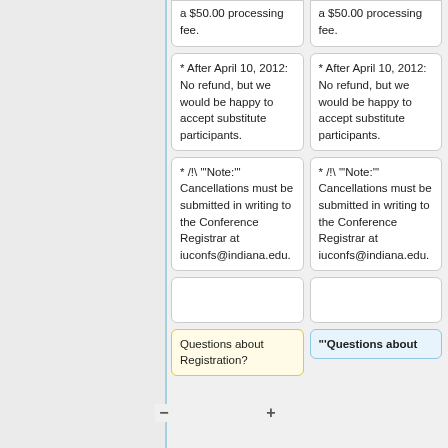a $50.00 processing fee.
a $50.00 processing fee.
* After April 10, 2012: No refund, but we would be happy to accept substitute participants.
* After April 10, 2012: No refund, but we would be happy to accept substitute participants.
* /!\ "'Note:'" Cancellations must be submitted in writing to the Conference Registrar at iuconfs@indiana.edu.
* /!\ "'Note:'" Cancellations must be submitted in writing to the Conference Registrar at iuconfs@indiana.edu.
Questions about Registration?
"'Questions about